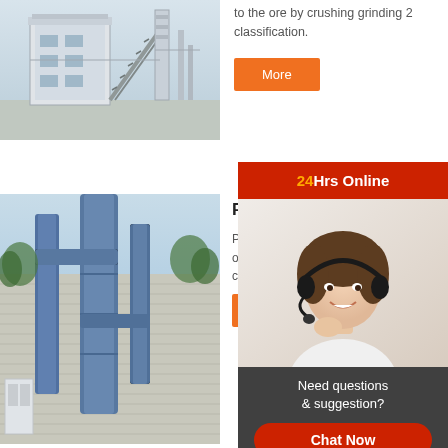[Figure (photo): Industrial facility with large white structures, stairs, and conveyor systems against a grey background]
to the ore by crushing grinding 2 classification.
More
[Figure (photo): Industrial blue vertical piping and ductwork on a building exterior with trees and sky in background]
PL Vertical Impact Crusher sh
PL Vertical Impact Crusher is used for ore,gold,silver ore, refractory, ce am carbide,steel sl ha coarse ...
More
[Figure (photo): Customer service agent woman wearing headset smiling, used as online support overlay]
24Hrs Online
Need questions & suggestion?
Chat Now
Enquiry
limingjlmofen